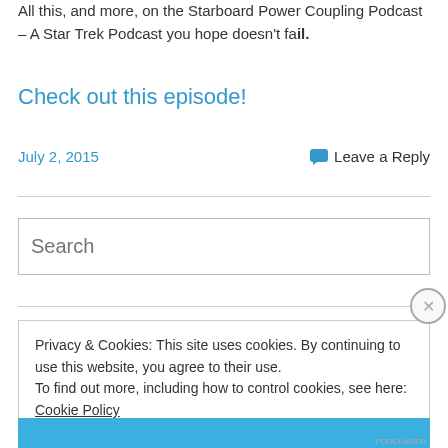All this, and more, on the Starboard Power Coupling Podcast – A Star Trek Podcast you hope doesn't fail.
Check out this episode!
July 2, 2015
💬 Leave a Reply
Search
Privacy & Cookies: This site uses cookies. By continuing to use this website, you agree to their use.
To find out more, including how to control cookies, see here: Cookie Policy
Close and accept